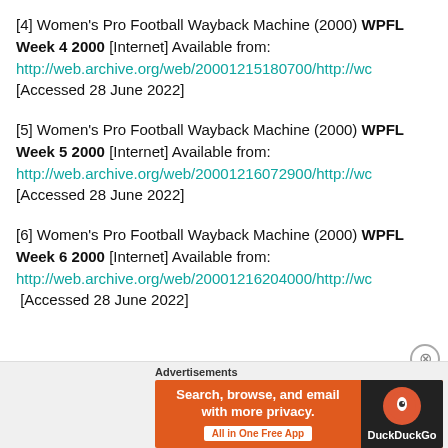[4] Women's Pro Football Wayback Machine (2000) WPFL Week 4 2000 [Internet] Available from: http://web.archive.org/web/20001215180700/http://wc [Accessed 28 June 2022]
[5] Women's Pro Football Wayback Machine (2000) WPFL Week 5 2000 [Internet] Available from: http://web.archive.org/web/20001216072900/http://wc [Accessed 28 June 2022]
[6] Women's Pro Football Wayback Machine (2000) WPFL Week 6 2000 [Internet] Available from: http://web.archive.org/web/20001216204000/http://wc [Accessed 28 June 2022]
Advertisements
[Figure (other): DuckDuckGo advertisement banner: Search, browse, and email with more privacy. All in One Free App]